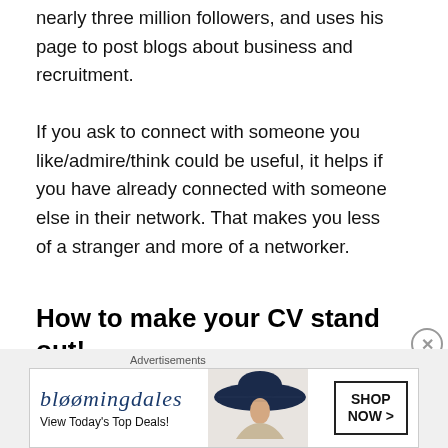nearly three million followers, and uses his page to post blogs about business and recruitment.
If you ask to connect with someone you like/admire/think could be useful, it helps if you have already connected with someone else in their network. That makes you less of a stranger and more of a networker.
How to make your CV stand out!
Advertisements
[Figure (other): Bloomingdale's advertisement banner with logo, tagline 'View Today's Top Deals!', woman in wide-brim hat, and 'SHOP NOW >' button]